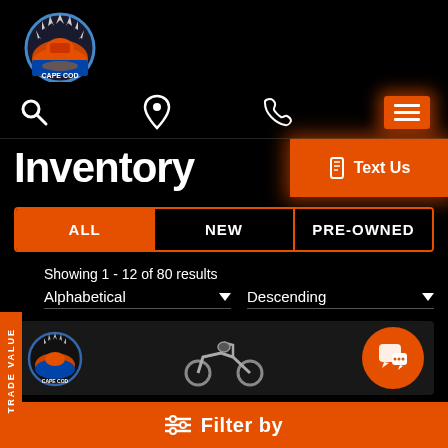[Figure (logo): Cape Cod Harley-Davidson circular logo with shark teeth border and sunset scene]
[Figure (screenshot): Navigation icons: search, location pin, phone, hamburger menu with orange glow]
Inventory
Text Us
ALL  NEW  PRE-OWNED
Showing 1 - 12 of 80 results
Alphabetical  Descending
[Figure (screenshot): Inventory preview row showing Cape Cod HD logo, motorcycle image, and orange chat bubble icon]
Filter by